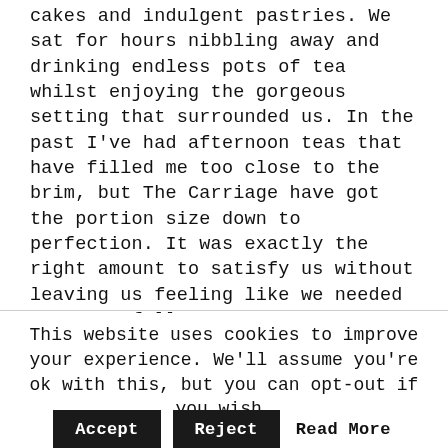cakes and indulgent pastries. We sat for hours nibbling away and drinking endless pots of tea whilst enjoying the gorgeous setting that surrounded us. In the past I've had afternoon teas that have filled me too close to the brim, but The Carriage have got the portion size down to perfection. It was exactly the right amount to satisfy us without leaving us feeling like we needed a nap to follow!
This website uses cookies to improve your experience. We'll assume you're ok with this, but you can opt-out if you wish.
Accept   Reject   Read More